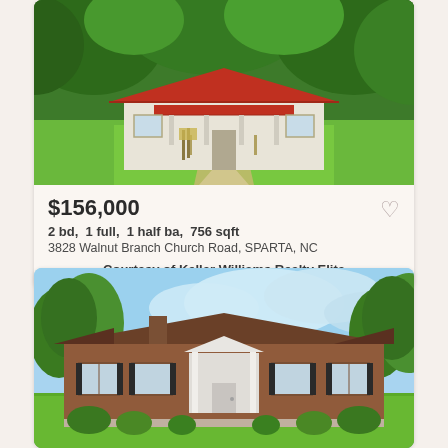[Figure (photo): Exterior photo of a small single-story house with red metal roof, white siding, front porch with ramps, surrounded by lush green trees and lawn]
$156,000
2 bd, 1 full, 1 half ba, 756 sqft
3828 Walnut Branch Church Road, SPARTA, NC
Courtesy of Keller Williams Realty Elite
[Figure (photo): Exterior photo of a large brick ranch-style home with brown roof, white columns at entrance, green landscaped bushes, blue sky with clouds]